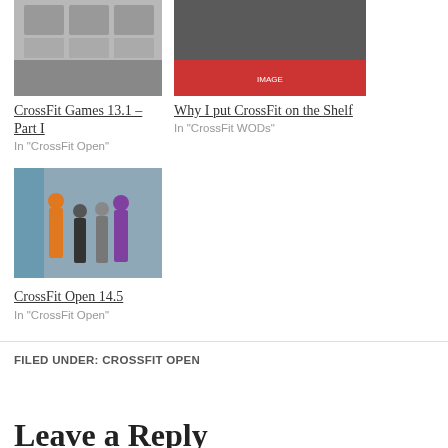[Figure (photo): CrossFit Games 13.1 thumbnail image showing weights/equipment on shelves]
CrossFit Games 13.1 – Part I
In "CrossFit Open"
[Figure (photo): Why I put CrossFit on the Shelf thumbnail image showing a crowded gym]
Why I put CrossFit on the Shelf
In "CrossFit WODs"
[Figure (photo): CrossFit Open 14.5 thumbnail image showing people working out in a gym]
CrossFit Open 14.5
In "CrossFit Open"
FILED UNDER: CROSSFIT OPEN
Leave a Reply